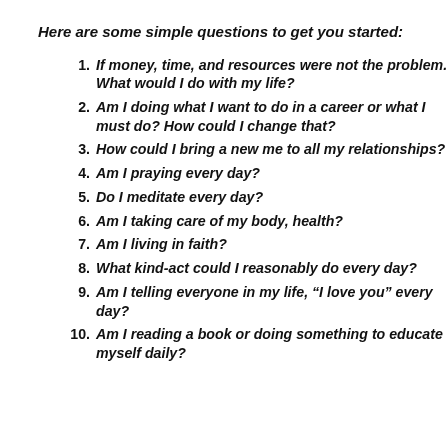Here are some simple questions to get you started:
If money, time, and resources were not the problem. What would I do with my life?
Am I doing what I want to do in a career or what I must do? How could I change that?
How could I bring a new me to all my relationships?
Am I praying every day?
Do I meditate every day?
Am I taking care of my body, health?
Am I living in faith?
What kind-act could I reasonably do every day?
Am I telling everyone in my life, “I love you” every day?
Am I reading a book or doing something to educate myself daily?